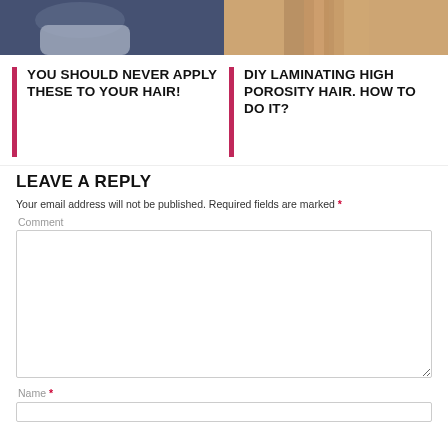[Figure (photo): Two photos side by side at top: left shows a person at a hair washing sink, right shows close-up of brown hair]
YOU SHOULD NEVER APPLY THESE TO YOUR HAIR!
DIY LAMINATING HIGH POROSITY HAIR. HOW TO DO IT?
LEAVE A REPLY
Your email address will not be published. Required fields are marked *
Comment
Name *